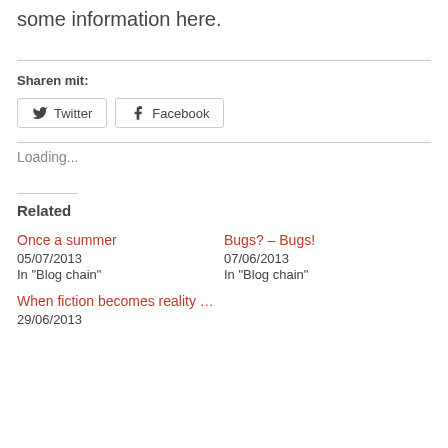some information here.
Sharen mit:
Twitter  Facebook
Loading...
Related
Once a summer
05/07/2013
In "Blog chain"
Bugs? – Bugs!
07/06/2013
In "Blog chain"
When fiction becomes reality …
29/06/2013